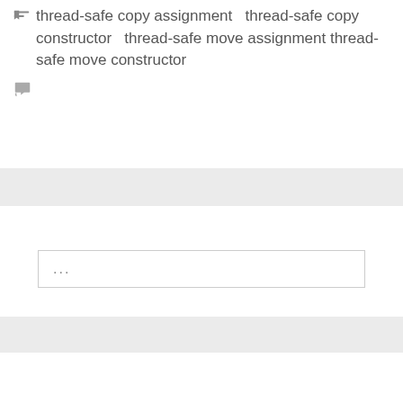thread-safe copy assignment  thread-safe copy constructor  thread-safe move assignment  thread-safe move constructor
[Figure (other): Comment/speech bubble icon]
...